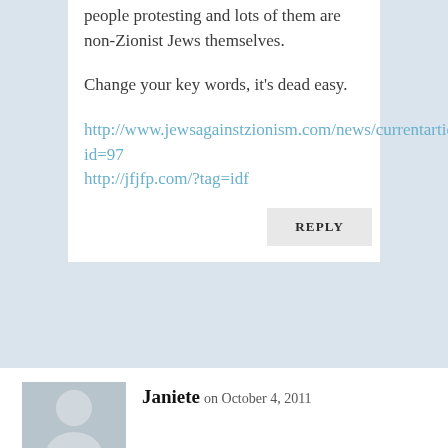people protesting and lots of them are non-Zionist Jews themselves.
Change your key words, it's dead easy.
http://www.jewsagainstzionism.com/news/currentarticle.cfm?id=97 http://jfjfp.com/?tag=idf
REPLY
Janiete on October 4, 2011